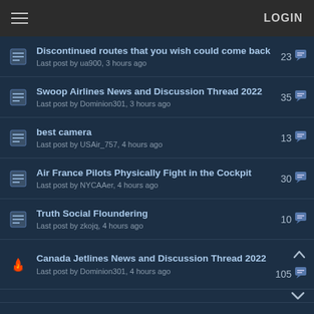LOGIN
Discontinued routes that you wish could come back
Last post by ua900, 3 hours ago
23
Swoop Airlines News and Discussion Thread 2022
Last post by Dominion301, 3 hours ago
35
best camera
Last post by USAir_757, 4 hours ago
13
Air France Pilots Physically Fight in the Cockpit
Last post by NYCAAer, 4 hours ago
30
Truth Social Floundering
Last post by zkojq, 4 hours ago
10
Canada Jetlines News and Discussion Thread 2022
Last post by Dominion301, 4 hours ago
105
Alaska Airlines Fleet Network and News Discussion - 2022